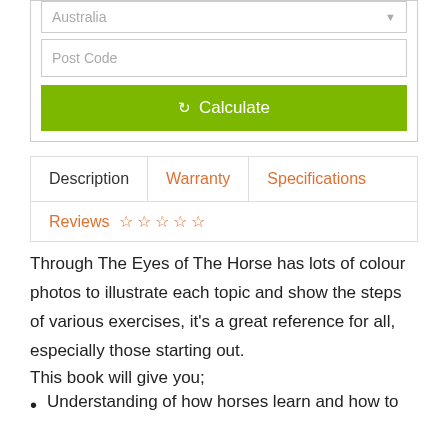[Figure (screenshot): Form input showing 'Australia' with a dropdown arrow]
[Figure (screenshot): Form input with placeholder text 'Post Code']
[Figure (screenshot): Green 'Calculate' button with refresh icon]
Description
Warranty
Specifications
Reviews ☆ ☆ ☆ ☆ ☆
Through The Eyes of The Horse has lots of colour photos to illustrate each topic and show the steps of various exercises, it's a great reference for all, especially those starting out.
This book will give you;
Understanding of how horses learn and how to